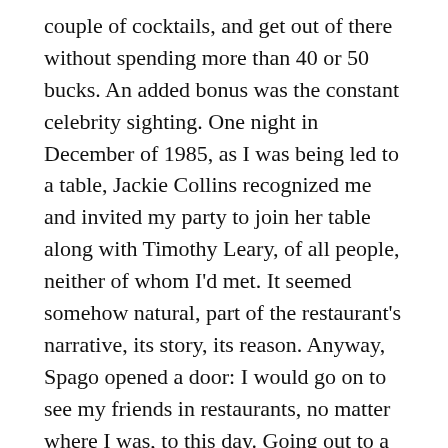couple of cocktails, and get out of there without spending more than 40 or 50 bucks. An added bonus was the constant celebrity sighting. One night in December of 1985, as I was being led to a table, Jackie Collins recognized me and invited my party to join her table along with Timothy Leary, of all people, neither of whom I'd met. It seemed somehow natural, part of the restaurant's narrative, its story, its reason. Anyway, Spago opened a door: I would go on to see my friends in restaurants, no matter where I was, to this day. Going out to a restaurant has been the social event during my lifetime; restaurants were the meeting places to gather and connect — until they weren't, for a year during the pandemic.
During the season of the virus, this was gone. And